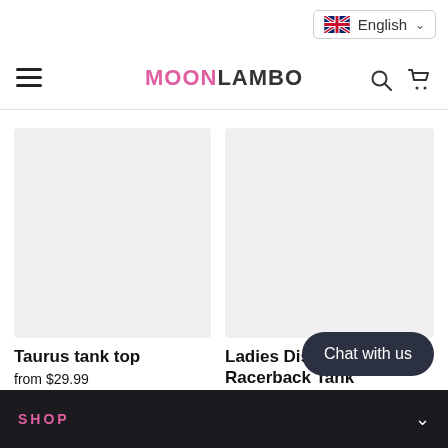MOONLAMBO
[Figure (screenshot): Product image placeholder for Taurus tank top, light gray rectangle]
Taurus tank top
from $29.99
[Figure (screenshot): Product image placeholder for Ladies Disruptor Racerback Tank, light gray rectangle]
Ladies Disruptor Racerback Tank
$25.00
Chat with us
SHOP